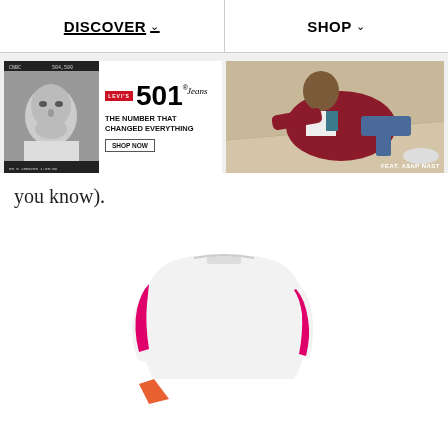DISCOVER ∨   SHOP ∨
[Figure (screenshot): Levi's 501 Jeans advertisement banner with black-and-white photo on left and colorful model (FEAT. A$AP NAST) on right. Text: THE NUMBER THAT CHANGED EVERYTHING, SHOP NOW]
you know).
[Figure (photo): White and pink/magenta colorblock top or sweatshirt, partially visible, product shot on white background]